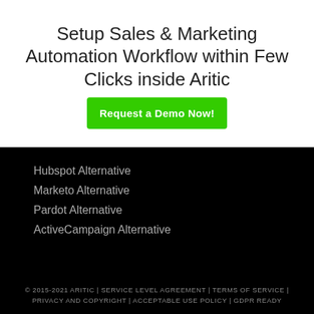Setup Sales & Marketing Automation Workflow within Few Clicks inside Aritic
Request a Demo Now!
Hubspot Alternative
Marketo Alternative
Pardot Alternative
ActiveCampaign Alternative
© 2015-2021 ARITIC | SERVICE LEVEL AGREEMENT | TERMS OF SERVICE | PRIVACY AND COPYRIGHT | ACCEPTABLE USE POLICY | GDPR READY